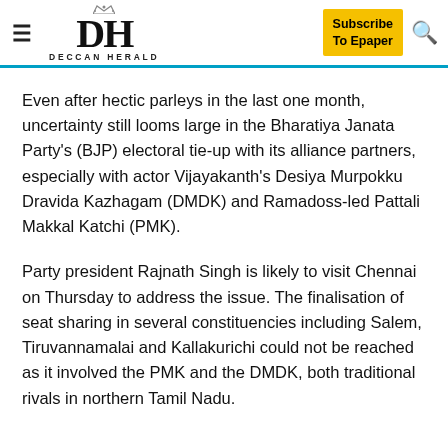Deccan Herald - Subscribe To Epaper
Even after hectic parleys in the last one month, uncertainty still looms large in the Bharatiya Janata Party's (BJP) electoral tie-up with its alliance partners, especially with actor Vijayakanth's Desiya Murpokku Dravida Kazhagam (DMDK) and Ramadoss-led Pattali Makkal Katchi (PMK).
Party president Rajnath Singh is likely to visit Chennai on Thursday to address the issue. The finalisation of seat sharing in several constituencies including Salem, Tiruvannamalai and Kallakurichi could not be reached as it involved the PMK and the DMDK, both traditional rivals in northern Tamil Nadu.